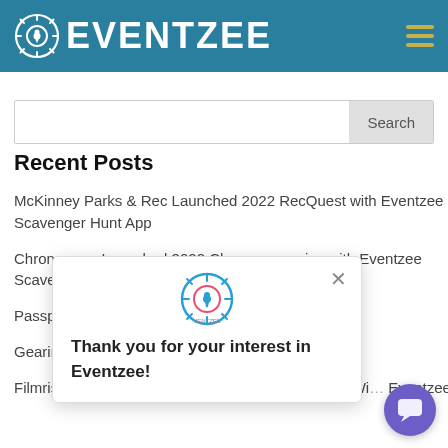EVENTZEE
[Figure (screenshot): Search bar with Search button]
Recent Posts
McKinney Parks & Rec Launched 2022 RecQuest with Eventzee Scavenger Hunt App
Chronogram Launched 2022 Chronogrammies with Eventzee Scavenger Hunt App
Passport to Jupiter App ... Eventzee Technology
Gearing Up For Summer ... App
Filmrise Launches True Crime Forensic Challenge Wi... Eventzee
[Figure (other): Popup dialog with Eventzee logo and text: Thank you for your interest in Eventzee!]